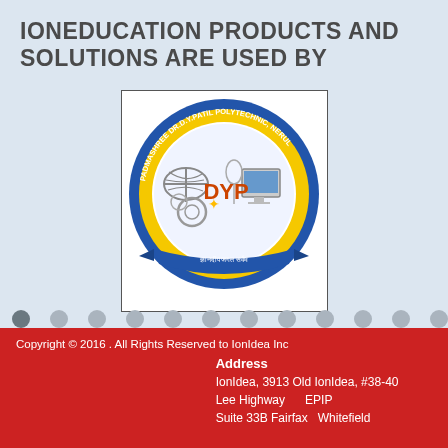IONEDUCATION PRODUCTS AND SOLUTIONS ARE USED BY
[Figure (logo): Padmashree Dr. D.Y. Patil Polytechnic, Nerul institutional logo — circular badge with blue outer ring, yellow inner ring with gear-tooth border, satellite dish, computer, gears, and 'DYP' text in center, blue ribbon at bottom with Devanagari text]
[Figure (infographic): Two rows of circular navigation dots, with the first dot in the first row highlighted darker than the rest]
Copyright © 2016 . All Rights Reserved to IonIdea Inc
Address
IonIdea, 3913 Old IonIdea, #38-40
Lee Highway    EPIP
Suite 33B Fairfax  Whitefield